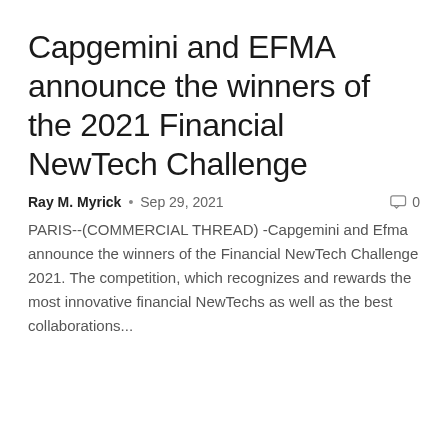Capgemini and EFMA announce the winners of the 2021 Financial NewTech Challenge
Ray M. Myrick  •  Sep 29, 2021   0
PARIS--(COMMERCIAL THREAD) -Capgemini and Efma announce the winners of the Financial NewTech Challenge 2021. The competition, which recognizes and rewards the most innovative financial NewTechs as well as the best collaborations...